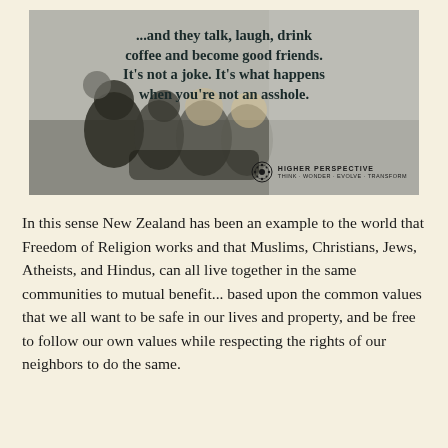[Figure (illustration): Black and white meme image showing a group of friends laughing together with bold text overlay reading '...and they talk, laugh, drink coffee and become good friends. It's not a joke. It's what happens when you're not an asshole.' with Higher Perspective logo in the bottom right.]
In this sense New Zealand has been an example to the world that Freedom of Religion works and that Muslims, Christians, Jews, Atheists, and Hindus, can all live together in the same communities to mutual benefit... based upon the common values that we all want to be safe in our lives and property, and be free to follow our own values while respecting the rights of our neighbors to do the same.